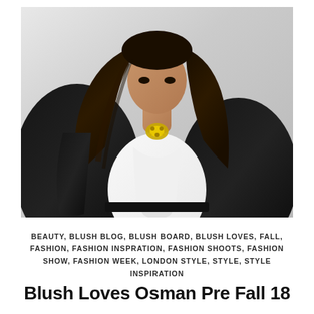[Figure (photo): Fashion photo of a woman with long dark hair wearing a black velvet blazer over a white tied shirt with a decorative brooch at the collar, posed against a light grey background]
BEAUTY, BLUSH BLOG, BLUSH BOARD, BLUSH LOVES, FALL, FASHION, FASHION INSPRATION, FASHION SHOOTS, FASHION SHOW, FASHION WEEK, LONDON STYLE, STYLE, STYLE INSPIRATION
Blush Loves Osman Pre Fall 18